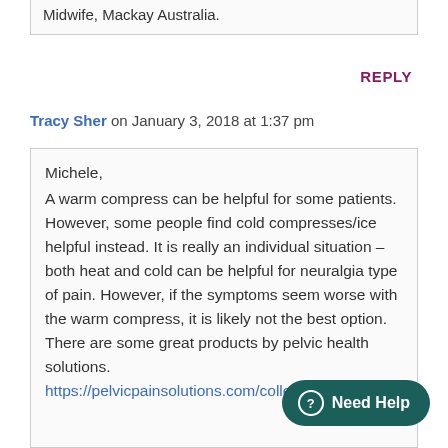Midwife, Mackay Australia.
REPLY
Tracy Sher on January 3, 2018 at 1:37 pm
Michele,
A warm compress can be helpful for some patients. However, some people find cold compresses/ice helpful instead. It is really an individual situation – both heat and cold can be helpful for neuralgia type of pain. However, if the symptoms seem worse with the warm compress, it is likely not the best option. There are some great products by pelvic health solutions.
https://pelvicpainsolutions.com/collections/all